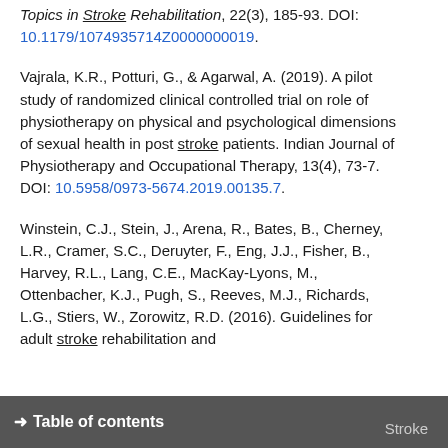Topics in Stroke Rehabilitation, 22(3), 185-93. DOI: 10.1179/1074935714Z0000000019.
Vajrala, K.R., Potturi, G., & Agarwal, A. (2019). A pilot study of randomized clinical controlled trial on role of physiotherapy on physical and psychological dimensions of sexual health in post stroke patients. Indian Journal of Physiotherapy and Occupational Therapy, 13(4), 73-7. DOI: 10.5958/0973-5674.2019.00135.7.
Winstein, C.J., Stein, J., Arena, R., Bates, B., Cherney, L.R., Cramer, S.C., Deruyter, F., Eng, J.J., Fisher, B., Harvey, R.L., Lang, C.E., MacKay-Lyons, M., Ottenbacher, K.J., Pugh, S., Reeves, M.J., Richards, L.G., Stiers, W., Zorowitz, R.D. (2016). Guidelines for adult stroke rehabilitation and
→ Table of contents  Stroke